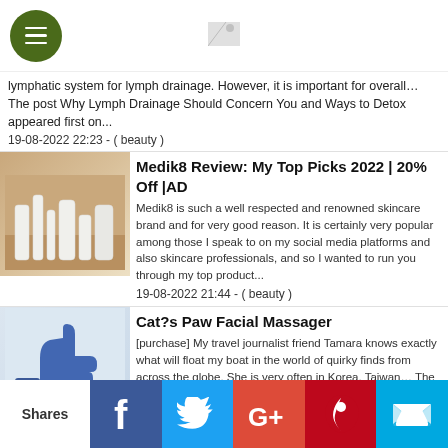[menu button] [logo image]
lymphatic system for lymph drainage. However, it is important for overall… The post Why Lymph Drainage Should Concern You and Ways to Detox appeared first on...
19-08-2022 22:23 - ( beauty )
[Figure (photo): Medik8 skincare product bottles on wooden shelf]
Medik8 Review: My Top Picks 2022 | 20% Off |AD
Medik8 is such a well respected and renowned skincare brand and for very good reason. It is certainly very popular among those I speak to on my social media platforms and also skincare professionals, and so I wanted to run you through my top product...
19-08-2022 21:44 - ( beauty )
[Figure (photo): Facebook Like thumbs up image]
Cat?s Paw Facial Massager
[purchase] My travel journalist friend Tamara knows exactly what will float my boat in the world of quirky finds from across the globe. She is very often in Korea, Taiwan… The post Cat's Paw Facial Massager appeared first on British...
17-05-2022 21:35 - ( beauty )
[Figure (photo): Fenty Toast'd Swirl Bronze Shimmer Powder product photo]
Fenty Toast'd Swirl Bronze Shimmer Powder On Sale at Ulta
Shares
Social share bar: Facebook, Twitter, Google+, Pinterest, Crown